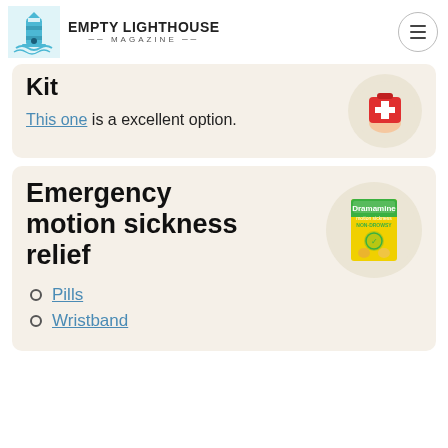EMPTY LIGHTHOUSE MAGAZINE
Kit
This one is a excellent option.
[Figure (photo): Red first aid bag being held in a hand, shown in a circular crop]
Emergency motion sickness relief
[Figure (photo): Dramamine motion sickness non-drowsy pills box with ginger, shown in a circular crop]
Pills
Wristband